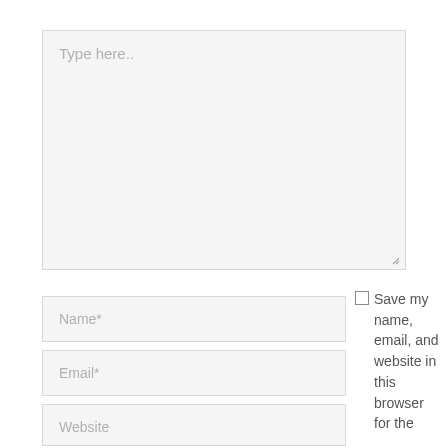Type here..
Name*
Email*
Website
Save my name, email, and website in this browser for the